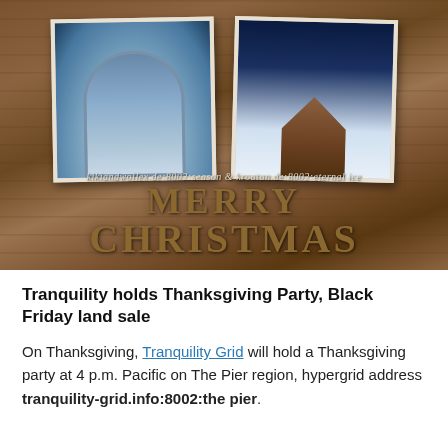[Figure (illustration): Christmas banner with wood texture background, two framed winter/Christmas photos side by side (left: gothic arch building, right: snow-covered dark cabin), text 'kikiandwollex.de:8002:season & kroatan.de:8002:eternal ice', and large text 'MERRY CHRISTMAS' in gold/brown serif font]
Tranquility holds Thanksgiving Party, Black Friday land sale
On Thanksgiving, Tranquility Grid will hold a Thanksgiving party at 4 p.m. Pacific on The Pier region, hypergrid address tranquility-grid.info:8002:the pier.